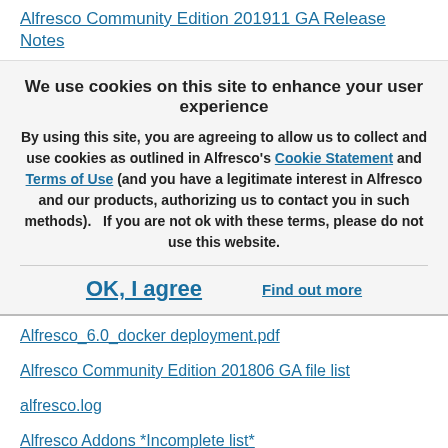Alfresco Community Edition 201911 GA Release Notes
We use cookies on this site to enhance your user experience
By using this site, you are agreeing to allow us to collect and use cookies as outlined in Alfresco’s Cookie Statement and Terms of Use (and you have a legitimate interest in Alfresco and our products, authorizing us to contact you in such methods).   If you are not ok with these terms, please do not use this website.
OK, I agree
Find out more
Alfresco_6.0_docker deployment.pdf
Alfresco Community Edition 201806 GA file list
alfresco.log
Alfresco Addons *Incomplete list*
Alfresco Community Edition 201806 GA Rel...